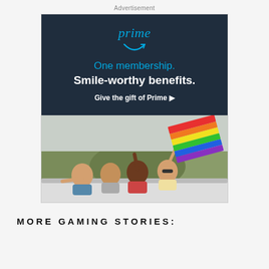Advertisement
[Figure (illustration): Amazon Prime advertisement banner. Dark navy top section with 'prime' logo in blue italic with Amazon smile arrow beneath, followed by text 'One membership. Smile-worthy benefits.' and 'Give the gift of Prime ▶' in white bold. Lower section shows photo of group of young people in a car with arms raised, one holding a rainbow flag outdoors.]
MORE GAMING STORIES: